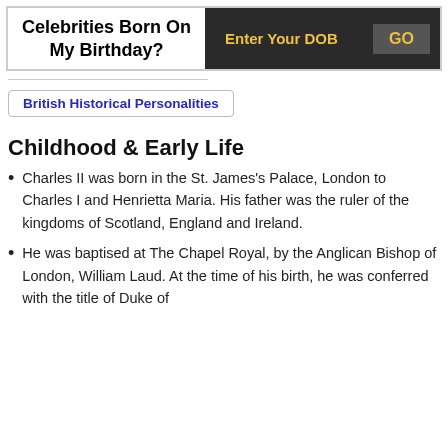Celebrities Born On My Birthday?
British Historical Personalities
Childhood & Early Life
Charles II was born in the St. James's Palace, London to Charles I and Henrietta Maria. His father was the ruler of the kingdoms of Scotland, England and Ireland.
He was baptised at The Chapel Royal, by the Anglican Bishop of London, William Laud. At the time of his birth, he was conferred with the title of Duke of